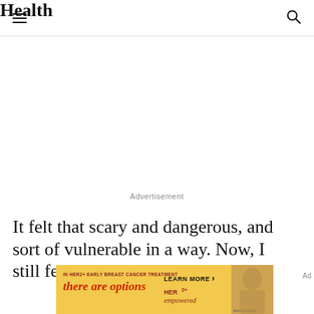Health
Advertisement
It felt that scary and dangerous, and sort of vulnerable in a way. Now, I still feel that, but
[Figure (other): Bottom advertisement banner for HER2+ early breast cancer treatment with text 'there are options' and 'HER2-empowered', with 'LEARN MORE' call to action and portrait of person. Background is yellow/gold.]